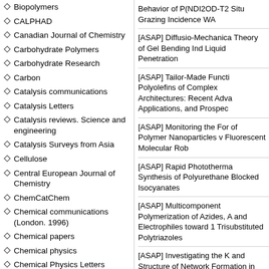Biopolymers
CALPHAD
Canadian Journal of Chemistry
Carbohydrate Polymers
Carbohydrate Research
Carbon
Catalysis communications
Catalysis Letters
Catalysis reviews. Science and engineering
Catalysis Surveys from Asia
Cellulose
Central European Journal of Chemistry
ChemCatChem
Chemical communications (London. 1996)
Chemical papers
Chemical physics
Chemical Physics Letters
Chemical Reviews
Chemical vapor deposition
Behavior of P(NDI2OD-T2 Situ Grazing Incidence WA
[ASAP] Diffusio-Mechanica Theory of Gel Bending Ind Liquid Penetration
[ASAP] Tailor-Made Functi Polyolefins of Complex Architectures: Recent Adva Applications, and Prospec
[ASAP] Monitoring the For of Polymer Nanoparticles v Fluorescent Molecular Rob
[ASAP] Rapid Phototherma Synthesis of Polyurethane Blocked Isocyanates
[ASAP] Multicomponent Polymerization of Azides, A and Electrophiles toward 1 Trisubstituted Polytriazoles
[ASAP] Investigating the K and Structure of Network Formation in Ultraviolet-Photopolymerizable Starch Nanogel Network Hydroge Very Small-Angle Neutron Scattering and Small-Amp Oscillatory Shear Rheolog